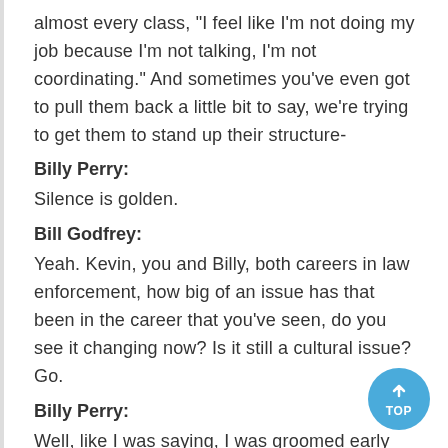almost every class, "I feel like I'm not doing my job because I'm not talking, I'm not coordinating." And sometimes you've even got to pull them back a little bit to say, we're trying to get them to stand up their structure-
Billy Perry:
Silence is golden.
Bill Godfrey:
Yeah. Kevin, you and Billy, both careers in law enforcement, how big of an issue has that been in the career that you've seen, do you see it changing now? Is it still a cultural issue? Go.
Billy Perry:
Well, like I was saying, I was groomed early that if you're out of control in the radio, you're out of control in the you're out of control there. So everything was super succinct, super calm, super measured and report what